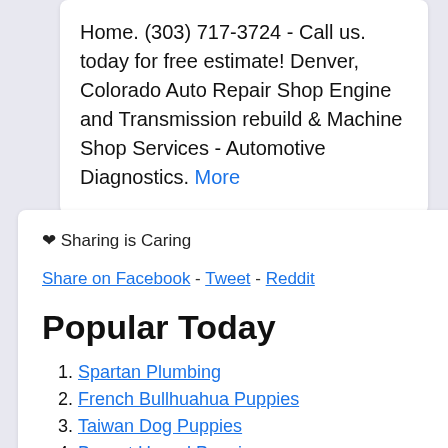Home. (303) 717-3724 - Call us. today for free estimate! Denver, Colorado Auto Repair Shop Engine and Transmission rebuild & Machine Shop Services - Automotive Diagnostics. More
❤ Sharing is Caring
Share on Facebook - Tweet - Reddit
Popular Today
1. Spartan Plumbing
2. French Bullhuahua Puppies
3. Taiwan Dog Puppies
4. Basset Hound Puppies
5. Auto Detailing
6. Acupuncture And Acupressure
7. Ambulance
8. Auto Auctions